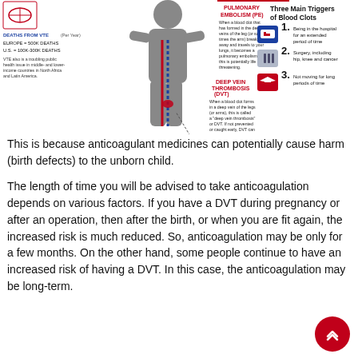[Figure (infographic): Medical infographic about blood clots (VTE/DVT/PE). Left side shows a human silhouette with red and blue vessels, text about Pulmonary Embolism (PE) and Deep Vein Thrombosis (DVT), deaths from VTE statistics (Europe=500K deaths, U.S.=100K-300K deaths). Right side shows 'Three Main Triggers of Blood Clots': 1. Being in the hospital for an extended period of time, 2. Surgery, including hip, knee and cancer, 3. Not moving for long periods of time.]
This is because anticoagulant medicines can potentially cause harm (birth defects) to the unborn child.
The length of time you will be advised to take anticoagulation depends on various factors. If you have a DVT during pregnancy or after an operation, then after the birth, or when you are fit again, the increased risk is much reduced. So, anticoagulation may be only for a few months. On the other hand, some people continue to have an increased risk of having a DVT. In this case, the anticoagulation may be long-term.